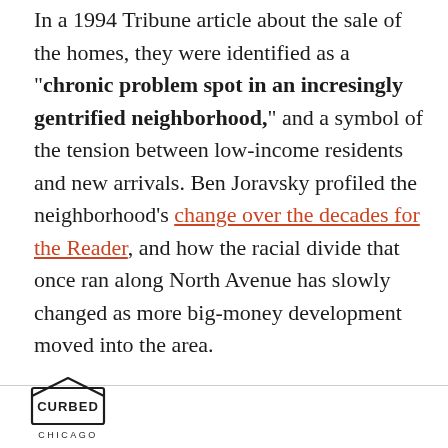In a 1994 Tribune article about the sale of the homes, they were identified as a "chronic problem spot in an incresingly gentrified neighborhood," and a symbol of the tension between low-income residents and new arrivals. Ben Joravsky profiled the neighborhood's change over the decades for the Reader, and how the racial divide that once ran along North Avenue has slowly changed as more big-money development moved into the area.
CURBED CHICAGO